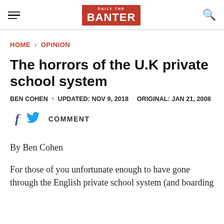THE BANTER
HOME › OPINION
The horrors of the U.K private school system
BEN COHEN • UPDATED: NOV 9, 2018 · ORIGINAL: JAN 21, 2008
COMMENT
By Ben Cohen
For those of you unfortunate enough to have gone through the English private school system (and boarding